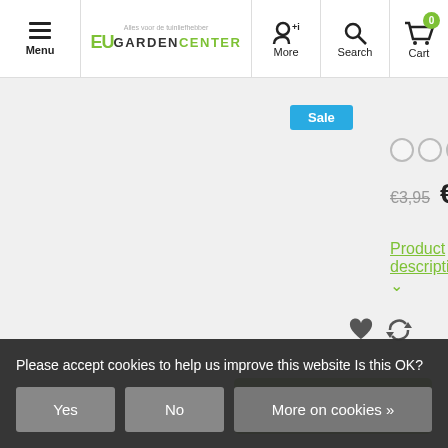Menu | EU Garden Center | More | Search | Cart
[Figure (screenshot): Sale badge (blue) for first product]
[Figure (other): 5 empty star rating circles]
€3,95  €3,16
Product description ∨
Add to cart
Plagron Sugar Royal
[Figure (other): 5 empty star rating circles for second product]
€19,40  €15,52
Please accept cookies to help us improve this website Is this OK?
Yes
No
More on cookies »